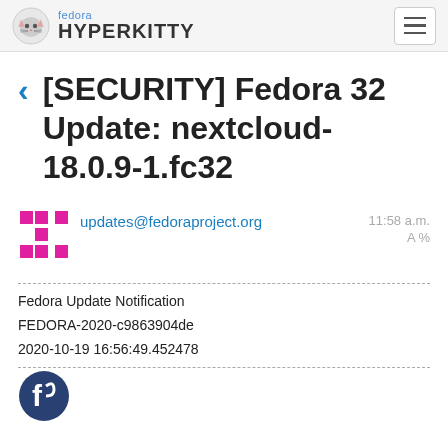fedora HYPERKITTY
[SECURITY] Fedora 32 Update: nextcloud-18.0.9-1.fc32
updates@fedoraproject.org  11:58 a.m.  A %
Fedora Update Notification
FEDORA-2020-c9863904de
2020-10-19 16:56:49.452478